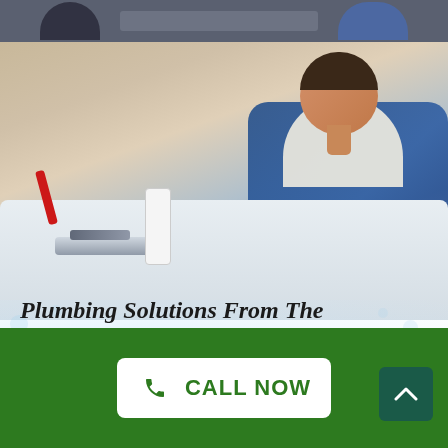[Figure (photo): Top strip photo showing two people at a desk or table, one writing with a pen, in work uniforms]
[Figure (photo): Main photo of a male plumber in blue overalls leaning over a white sink, working on faucet/pipe installation with tools visible]
Plumbing Solutions From The Specialists In Burbank
Going above and beyond the responsibilities of a
CALL NOW